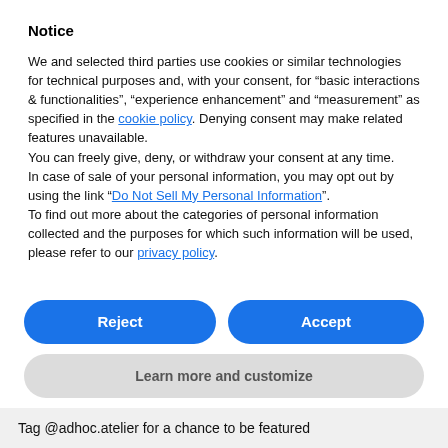Notice
We and selected third parties use cookies or similar technologies for technical purposes and, with your consent, for “basic interactions & functionalities”, “experience enhancement” and “measurement” as specified in the cookie policy. Denying consent may make related features unavailable.
You can freely give, deny, or withdraw your consent at any time.
In case of sale of your personal information, you may opt out by using the link “Do Not Sell My Personal Information”.
To find out more about the categories of personal information collected and the purposes for which such information will be used, please refer to our privacy policy.
Reject
Accept
Learn more and customize
Tag @adhoc.atelier for a chance to be featured